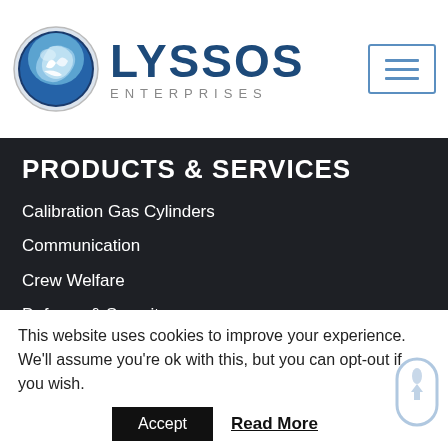[Figure (logo): Lyssos Enterprises logo: globe/swirl icon in blue with company name LYSSOS ENTERPRISES]
PRODUCTS & SERVICES
Calibration Gas Cylinders
Communication
Crew Welfare
Defense & Security
Fall Protection
This website uses cookies to improve your experience. We'll assume you're ok with this, but you can opt-out if you wish.
Accept   Read More